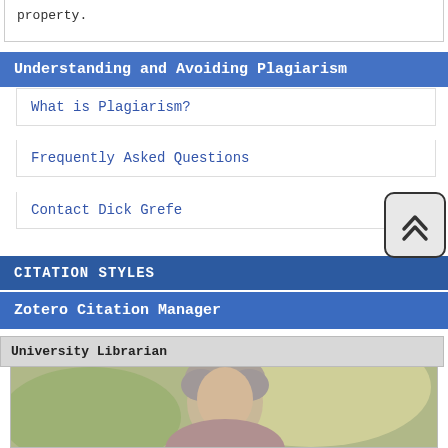property.
Understanding and Avoiding Plagiarism
What is Plagiarism?
Frequently Asked Questions
Contact Dick Grefe
CITATION STYLES
Zotero Citation Manager
University Librarian
[Figure (photo): Portrait photo of a woman with gray hair against a blurred green/yellow outdoor background]